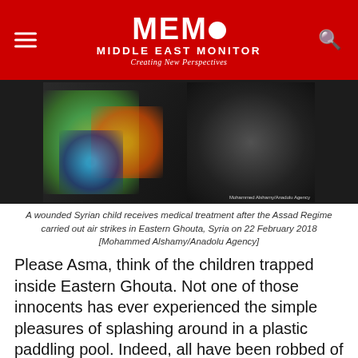MEMO MIDDLE EAST MONITOR — Creating New Perspectives
[Figure (photo): A wounded Syrian child receiving medical treatment after Assad Regime air strikes in Eastern Ghouta, Syria — blurred/dark image with colorful fabric visible]
A wounded Syrian child receives medical treatment after the Assad Regime carried out air strikes in Eastern Ghouta, Syria on 22 February 2018 [Mohammed Alshamy/Anadolu Agency]
Please Asma, think of the children trapped inside Eastern Ghouta. Not one of those innocents has ever experienced the simple pleasures of splashing around in a plastic paddling pool. Indeed, all have been robbed of the sort of childhood and life chances that your parents made sure you enjoyed, allowing you to study French and computing at King's College, in the school fees your parents...